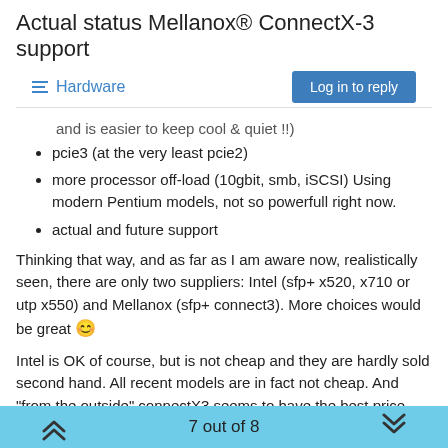Actual status Mellanox® ConnectX-3 support
Hardware
and is easier to keep cool & quiet !!)
pcie3 (at the very least pcie2)
more processor off-load (10gbit, smb, iSCSI) Using modern Pentium models, not so powerfull right now.
actual and future support
Thinking that way, and as far as I am aware now, realistically seen, there are only two suppliers: Intel (sfp+ x520, x710 or utp x550) and Mellanox (sfp+ connect3). More choices would be great 😊
Intel is OK of course, but is not cheap and they are hardly sold second hand. All recent models are in fact not cheap. And "from the outside" connectX3 seems to have the best price performance, but is it true ..... ?
Do they have the same performance?
Do they work "out of the box"
7 out of 8